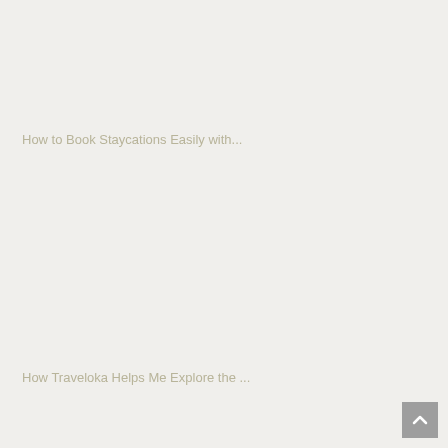How to Book Staycations Easily with...
How Traveloka Helps Me Explore the ...
[Figure (other): Scroll to top button with upward chevron arrow, grey square background]